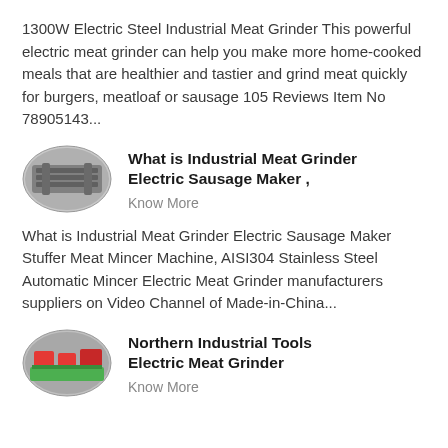1300W Electric Steel Industrial Meat Grinder This powerful electric meat grinder can help you make more home-cooked meals that are healthier and tastier and grind meat quickly for burgers, meatloaf or sausage 105 Reviews Item No 78905143...
[Figure (photo): Oval thumbnail image of industrial meat grinder machinery]
What is Industrial Meat Grinder Electric Sausage Maker ,
Know More
What is Industrial Meat Grinder Electric Sausage Maker Stuffer Meat Mincer Machine, AISI304 Stainless Steel Automatic Mincer Electric Meat Grinder manufacturers suppliers on Video Channel of Made-in-China...
[Figure (photo): Oval thumbnail image of industrial facility with red and green equipment]
Northern Industrial Tools Electric Meat Grinder
Know More